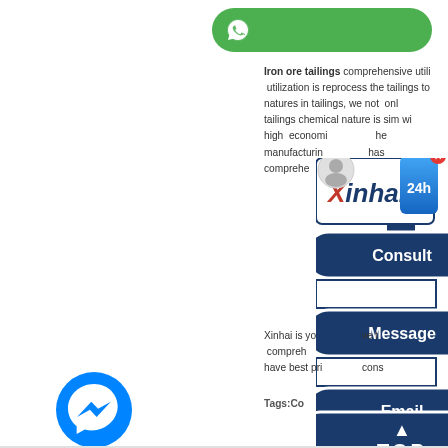[Figure (logo): Green WhatsApp icon bar at top]
Iron ore tailings comprehensive utilization is reprocess the tailings to natures in tailings, we not only d tailings chemical nature is sim wi high economi he manufacturin has comprehe
[Figure (logo): Facebook Messenger circular blue icon on left]
[Figure (logo): WhatsApp green circular icon on left]
[Figure (infographic): Xinhai popup overlay with Consult, Message, Email buttons and TOP button, 24h badge and avatar]
Xinhai is yo ve t compreh have best pr cons
Tags:Co